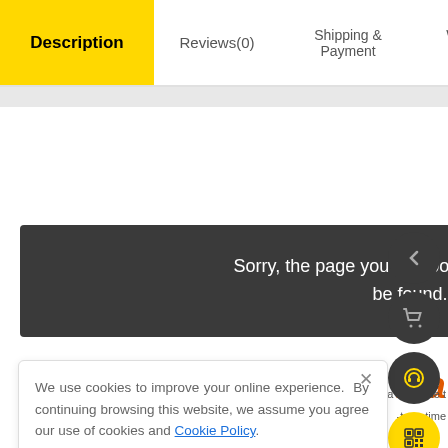Description | Reviews(0) | Shipping & Payment | Wholesale Inquiry
[Figure (screenshot): Error message box on dark gray background: 'Sorry, the page you are looking for could not be found.']
Stainless Steel Ma
sista available t -term time
We use cookies to improve your online experience. By continuing browsing this website, we assume you agree our use of cookies and Cookie Policy.